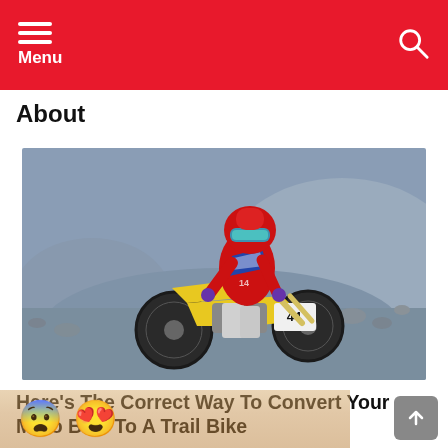Menu
About
[Figure (photo): Motocross rider wearing red gear and number 44 on a yellow dirt bike, performing a jump against a rocky hillside background.]
Here’s The Correct Way To Convert Your Moto Bike To A Trail Bike
😨 😍